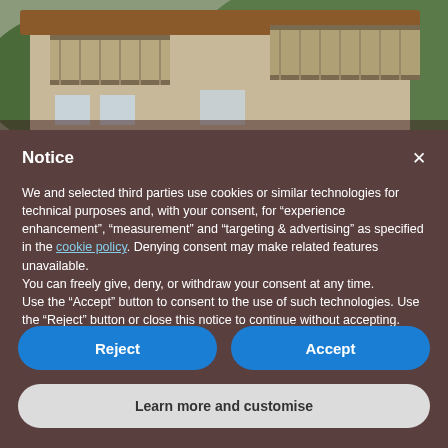[Figure (photo): Photograph of a multi-story residential building with balconies and mountain/forest background]
Notice
We and selected third parties use cookies or similar technologies for technical purposes and, with your consent, for “experience enhancement”, “measurement” and “targeting & advertising” as specified in the cookie policy. Denying consent may make related features unavailable.
You can freely give, deny, or withdraw your consent at any time.
Use the “Accept” button to consent to the use of such technologies. Use the “Reject” button or close this notice to continue without accepting.
Reject
Accept
Learn more and customise